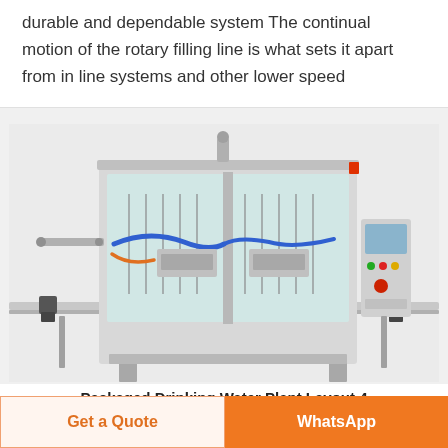durable and dependable system The continual motion of the rotary filling line is what sets it apart from in line systems and other lower speed
[Figure (photo): Photo of an industrial inline liquid filling machine with stainless steel frame, conveyor belt, multiple filling nozzles, and a control panel on the right side.]
Packaged Drinking Water Plant Layout 4
Get a Quote | WhatsApp